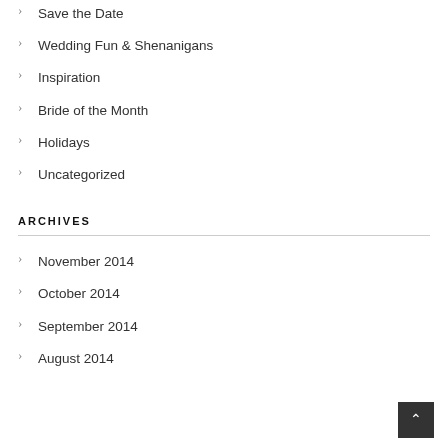Save the Date
Wedding Fun & Shenanigans
Inspiration
Bride of the Month
Holidays
Uncategorized
ARCHIVES
November 2014
October 2014
September 2014
August 2014